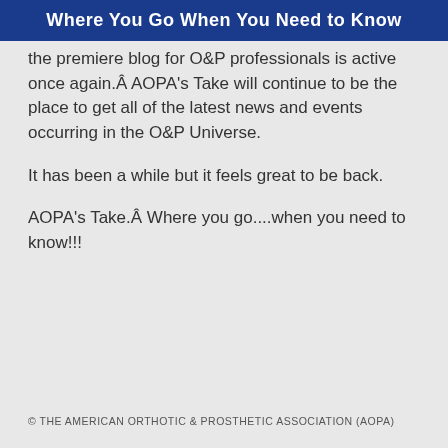Where You Go When You Need to Know
the premiere blog for O&P professionals is active once again.Â  AOPA’s Take will continue to be the place to get all of the latest news and events occurring in the O&P Universe.
It has been a while but it feels great to be back.
AOPA’s Take.Â  Where you go....when you need to know!!!
© THE AMERICAN ORTHOTIC & PROSTHETIC ASSOCIATION (AOPA)